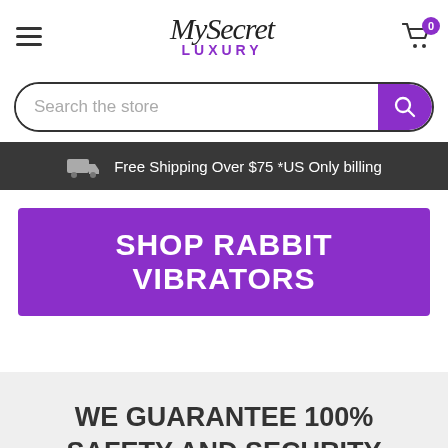MySecret LUXURY
Search the store
Free Shipping Over $75 *US Only billing
SHOP RABBIT VIBRATORS
WE GUARANTEE 100% SAFETY AND SECURITY